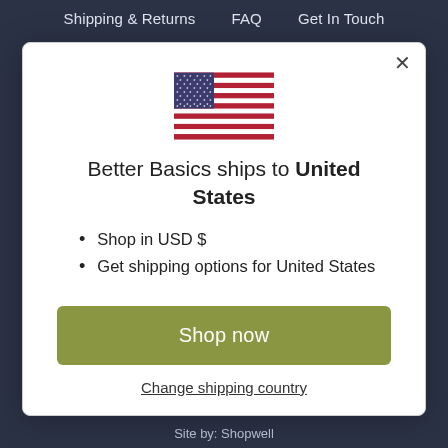Shipping & Returns   FAQ   Get In Touch
[Figure (illustration): United States flag icon]
Better Basics ships to United States
Shop in USD $
Get shipping options for United States
Shop now
Change shipping country
Site by: Shopwell